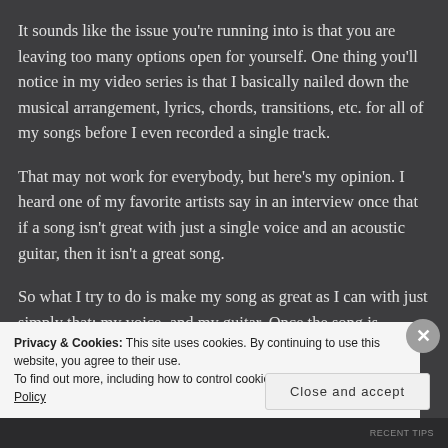It sounds like the issue you're running into is that you are leaving too many options open for yourself. One thing you'll notice in my video series is that I basically nailed down the musical arrangement, lyrics, chords, transitions, etc. for all of my songs before I even recorded a single track.
That may not work for everybody, but here's my opinion. I heard one of my favorite artists say in an interview once that if a song isn't great with just a single voice and an acoustic guitar, then it isn't a great song.
So what I try to do is make my song as great as I can with just simply that: my voice, and my guitar. Once the song is
Privacy & Cookies: This site uses cookies. By continuing to use this website, you agree to their use.
To find out more, including how to control cookies, see here: Cookie Policy
Close and accept
RECENT TIPS